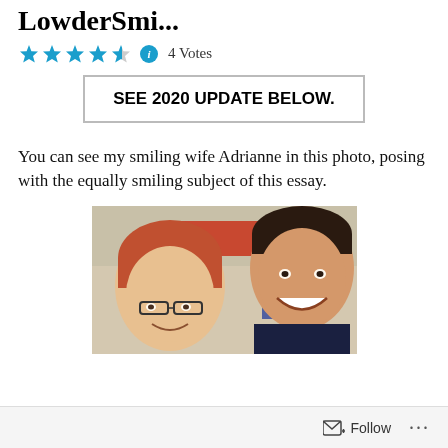LowderSmi...
4 Votes
SEE 2020 UPDATE BELOW.
You can see my smiling wife Adrianne in this photo, posing with the equally smiling subject of this essay.
[Figure (photo): A selfie photo of two people smiling. On the left is a woman with reddish-brown short hair and glasses. On the right is a man with short dark hair, both smiling at the camera indoors.]
Follow ...